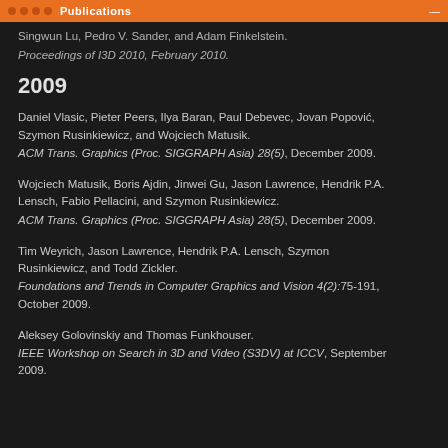Publications
Singwun Lu, Pedro V. Sander, and Adam Finkelstein.
Proceedings of I3D 2010, February 2010.
2009
Daniel Vlasic, Pieter Peers, Ilya Baran, Paul Debevec, Jovan Popović, Szymon Rusinkiewicz, and Wojciech Matusik.
ACM Trans. Graphics (Proc. SIGGRAPH Asia) 28(5), December 2009.
Wojciech Matusik, Boris Ajdin, Jinwei Gu, Jason Lawrence, Hendrik P.A. Lensch, Fabio Pellacini, and Szymon Rusinkiewicz.
ACM Trans. Graphics (Proc. SIGGRAPH Asia) 28(5), December 2009.
Tim Weyrich, Jason Lawrence, Hendrik P.A. Lensch, Szymon Rusinkiewicz, and Todd Zickler.
Foundations and Trends in Computer Graphics and Vision 4(2):75-191, October 2009.
Aleksey Golovinskiy and Thomas Funkhouser.
IEEE Workshop on Search in 3D and Video (S3DV) at ICCV, September 2009.